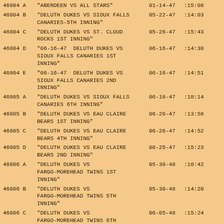| ID | Title | Date | Time |
| --- | --- | --- | --- |
| 46804 A | "ABERDEEN VS ALL STARS" | 01-14-47 | :15:08 |
| 46804 B | "DELUTH DUKES VS SIOUX FALLS CANARIES-5TH INNING" | 05-22-47 | :14:03 |
| 46804 C | "DELUTH DUKES VS ST. CLOUD ROCKS 1ST INNING" | 05-26-47 | :15:43 |
| 46804 D | "06-16-47  DELUTH DUKES VS SIOUX FALLS CANARIES 1ST INNING" | 06-16-47 | :14:30 |
| 46804 E | "06-16-47  DELUTH DUKES VS SIOUX FALLS CANARIES 2ND INNING" | 06-16-47 | :14:51 |
| 46805 A | "DELUTH DUKES VS SIOUX FALLS CANARIES 6TH INNING" | 06-18-47 | :18:14 |
| 46805 B | "DELUTH DUKES VS EAU CLAIRE BEARS 1ST INNING" | 06-26-47 | :13:58 |
| 46805 C | "DELUTH DUKES VS EAU CLAIRE BEARS 4TH INNING" | 06-26-47 | :14:52 |
| 46805 D | "DELUTH DUKES VS EAU CLAIRE BEARS 2ND INNING" | 08-25-47 | :15:23 |
| 46806 A | "DELUTH DUKES VS FARGO-MOREHEAD TWINS 1ST INNING" | 05-30-48 | :10:42 |
| 46806 B | "DELUTH DUKES VS FARGO-MOREHEAD TWINS 5TH INNING" | 05-30-48 | :14:20 |
| 46806 C | "DELUTH DUKES VS FARGO-MOREHEAD TWINS 6TH INNING" | 06-05-48 | :15:24 |
| 46806 D | "DELUTH DUKES VS SIOUX FALLS | 06-24-48 | :14:22 |